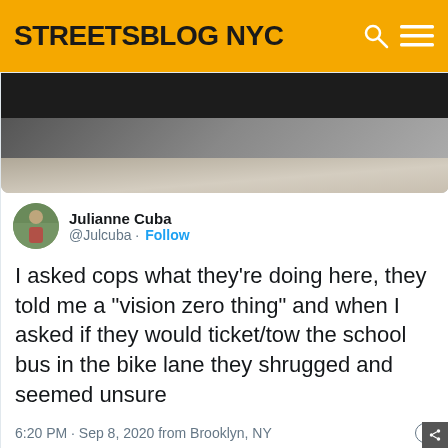STREETSBLOG NYC
[Figure (photo): Partial view of a road/asphalt surface, top portion of a tweet image]
Julianne Cuba @Julcuba · Follow
I asked cops what they’re doing here, they told me a “vision zero thing” and when I asked if they would ticket/tow the school bus in the bike lane they shrugged and seemed unsure
6:20 PM · Sep 8, 2020 from Brooklyn, NY
164  Reply  Copy link to Tweet
Read 5 replies